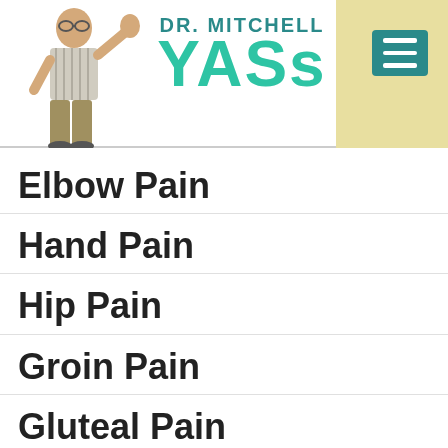[Figure (logo): Dr. Mitchell Yass website header with logo showing DR. MITCHELL YASS in teal/green text, a photo of a man in a striped shirt gesturing, a yellow sidebar, and a teal hamburger menu icon]
Elbow Pain
Hand Pain
Hip Pain
Groin Pain
Gluteal Pain